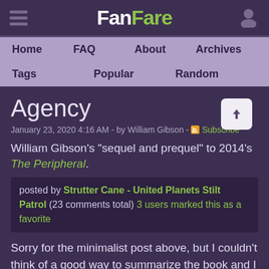FanFare
Home  FAQ  About  Archives  Tags  Popular  Random
Agency
January 23, 2020 4:16 AM - by William Gibson - Subscribe
William Gibson's "sequel and prequel" to 2014's The Peripheral.
posted by Strutter Cane - United Planets Stilt Patrol (23 comments total) 3 users marked this as a favorite
Sorry for the minimalist post above, but I couldn’t think of a good way to summarize the book and I didn’t want to just reproduce the back cover summary. Unordered and somewhat cursory thoughts while they’re still fresh, having